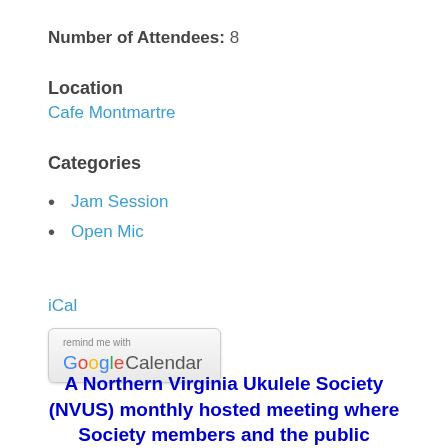Number of Attendees: 8
Location
Cafe Montmartre
Categories
Jam Session
Open Mic
iCal
[Figure (other): Remind me with Google Calendar button]
A Northern Virginia Ukulele Society (NVUS) monthly hosted meeting where Society members and the public